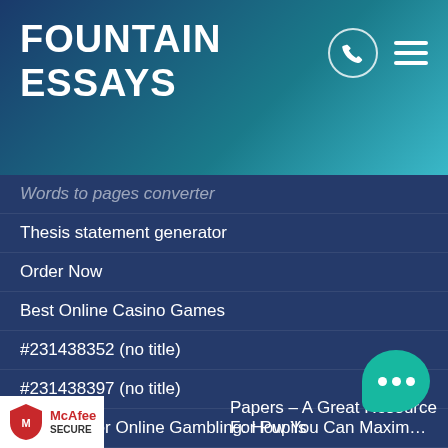FOUNTAIN ESSAYS
Words to pages converter
Thesis statement generator
Order Now
Best Online Casino Games
#231438352 (no title)
#231438397 (no title)
Bonuses for Online Gambling: How You Can Maximize Your Profit
Free Demo Slot Games Can Help You Improve Your Slots
No Deposit Casino Bonus
How to Play Casino Games Online
#231438462 (no title)
#231439946 (no title)
Papers – A Great Resource For Pupils